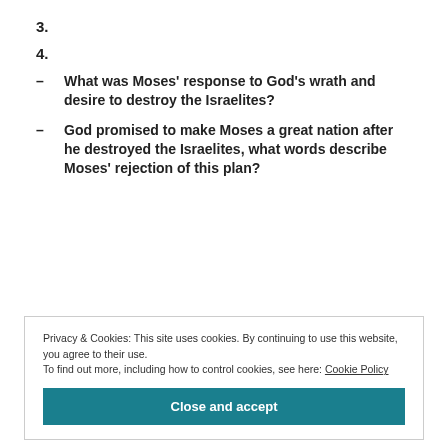3.
4.
– What was Moses' response to God's wrath and desire to destroy the Israelites?
– God promised to make Moses a great nation after he destroyed the Israelites, what words describe Moses' rejection of this plan?
Privacy & Cookies: This site uses cookies. By continuing to use this website, you agree to their use.
To find out more, including how to control cookies, see here: Cookie Policy
Close and accept